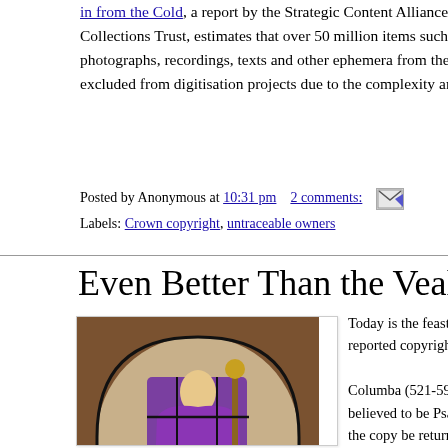and The Collections Trust, estimates that over 50 million items such as photographs, recordings, texts and other ephemera from the las are excluded from digitisation projects due to the complexity and time re
Posted by Anonymous at 10:31 pm   2 comments:
Labels: Crown copyright, untraceable owners
Even Better Than the Veal Thin
[Figure (photo): Stained glass window depicting Saint Columba in purple robes holding a staff]
Today is the feast day of Saint Columb first reported copyright infringement de
Columba (521-597AD), when visiting h psalter, believed to be Psalms 31-106, Finian asked that the copy be returned his case to King Dermott.
The High King's ruling is the now famo variously, "transcript", "author" or "cop uberblogmeister Jeremy Phillips' learn European Intellectual Property Review Dublin.